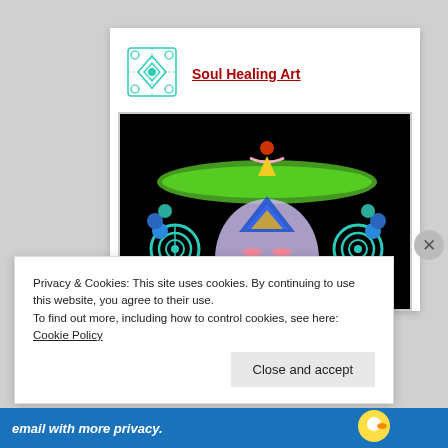[Figure (logo): Teal/turquoise decorative tile logo for Soul Healing Art]
Soul Healing Art
[Figure (illustration): Colorful spiritual artwork on black background: a face-like figure with green arc above, blue pyramid/triangle with gold, spiral earrings, figure with red orb on top holding green swoosh]
Privacy & Cookies: This site uses cookies. By continuing to use this website, you agree to their use.
To find out more, including how to control cookies, see here: Cookie Policy
Close and accept
email with more privacy.